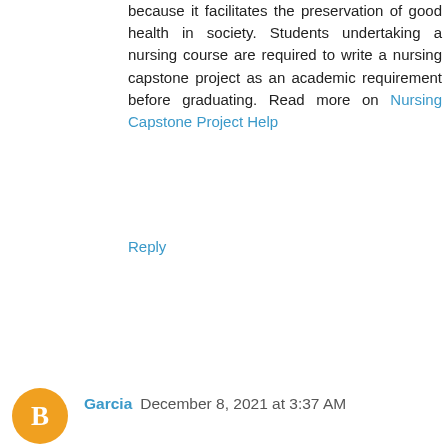because it facilitates the preservation of good health in society. Students undertaking a nursing course are required to write a nursing capstone project as an academic requirement before graduating. Read more on Nursing Capstone Project Help
Reply
Garcia December 8, 2021 at 3:37 AM
As a tenant, you might feel the need to replace your shower head, although you will need to consult with the owner. If permitted, you can change the apartment's shower-heads and ensure you keep the original ones for reinstallation when moving out. Read more about Best Shower Head for Apartment
Reply
Unknown December 15, 2021 at 11:48 PM
Research writing is the most stressful writing experience that a student might come across in their academic career